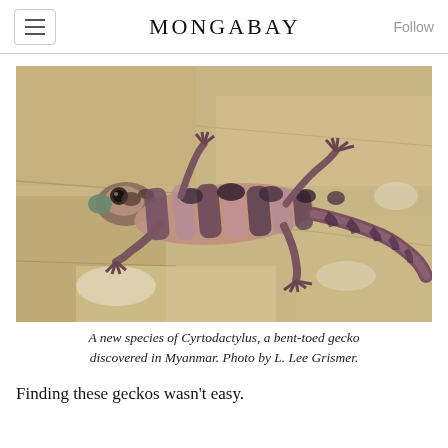MONGABAY
[Figure (photo): A bent-toed gecko (Cyrtodactylus species) photographed on a rocky limestone surface. The gecko displays distinctive banded patterning in purple-brown and tan colors across its body and tail.]
A new species of Cyrtodactylus, a bent-toed gecko discovered in Myanmar. Photo by L. Lee Grismer.
Finding these geckos wasn't easy.